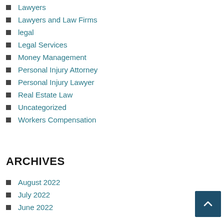Lawyers
Lawyers and Law Firms
legal
Legal Services
Money Management
Personal Injury Attorney
Personal Injury Lawyer
Real Estate Law
Uncategorized
Workers Compensation
ARCHIVES
August 2022
July 2022
June 2022